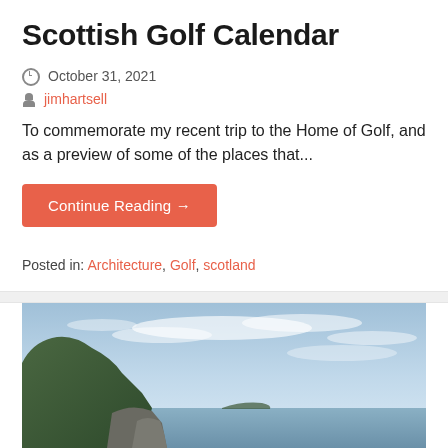Scottish Golf Calendar
October 31, 2021
jimhartsell
To commemorate my recent trip to the Home of Golf, and as a preview of some of the places that...
Continue Reading →
Posted in: Architecture, Golf, scotland
[Figure (photo): Coastal Scottish landscape with green rocky cliffs on the left, calm sea water, and a partly cloudy blue sky]